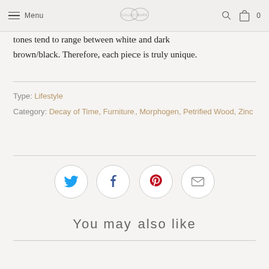Menu | [logo] | [search] [cart] 0
tones tend to range between white and dark brown/black. Therefore, each piece is truly unique.
Type: Lifestyle
Category: Decay of Time, Furniture, Morphogen, Petrified Wood, Zinc
[Figure (other): Social sharing icons: Twitter, Facebook, Pinterest, Email — each in a light circular border]
You may also like